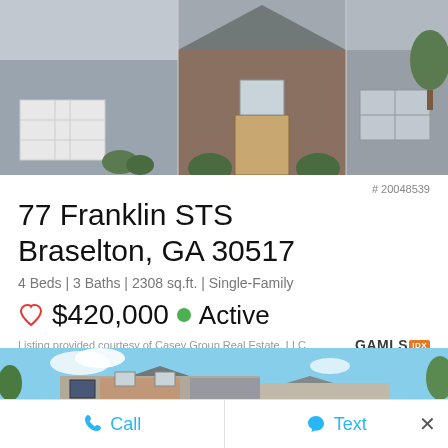[Figure (photo): Exterior photo of a residential home showing garage on left, brick front door in center, and gray siding portion on right]
# 20048539
77 Franklin STS
Braselton, GA 30517
4 Beds | 3 Baths | 2308 sq.ft. | Single-Family
♡ $420,000 ● Active
Listing provided courtesy of Casey Group Real Estate, LLC
[Figure (photo): Exterior photo of a two-story brick and gray siding single-family home with blue shutters under a blue sky]
Call
Text